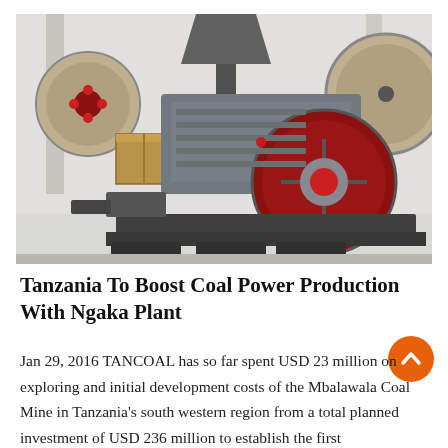[Figure (photo): Industrial coal crushing machinery — a large double-roller or jaw crusher on a factory floor. The machine is grey/silver with prominent red-rimmed flywheels. Background shows a warehouse setting with additional industrial equipment, wooden crates, and structural columns.]
Tanzania To Boost Coal Power Production With Ngaka Plant
Jan 29, 2016 TANCOAL has so far spent USD 23 million on exploring and initial development costs of the Mbalawala Coal Mine in Tanzania's south western region from a total planned investment of USD 236 million to establish the first